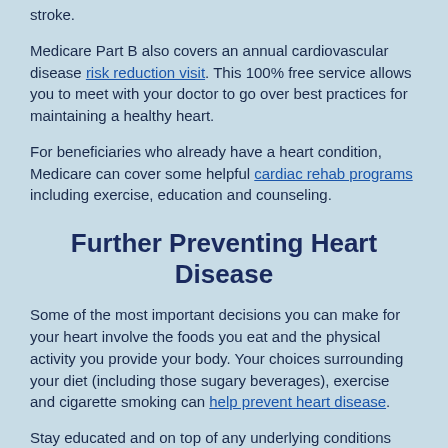stroke.
Medicare Part B also covers an annual cardiovascular disease risk reduction visit. This 100% free service allows you to meet with your doctor to go over best practices for maintaining a healthy heart.
For beneficiaries who already have a heart condition, Medicare can cover some helpful cardiac rehab programs including exercise, education and counseling.
Further Preventing Heart Disease
Some of the most important decisions you can make for your heart involve the foods you eat and the physical activity you provide your body. Your choices surrounding your diet (including those sugary beverages), exercise and cigarette smoking can help prevent heart disease.
Stay educated and on top of any underlying conditions that could increase your risk of heart disease. Proactive steps you can take might include: